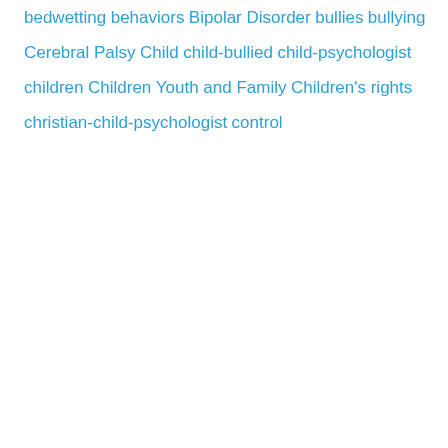bedwetting
behaviors
Bipolar Disorder
bullies
bullying
Cerebral Palsy
Child
child-bullied
child-psychologist
children
Children Youth and Family
Children's rights
christian-child-psychologist
control